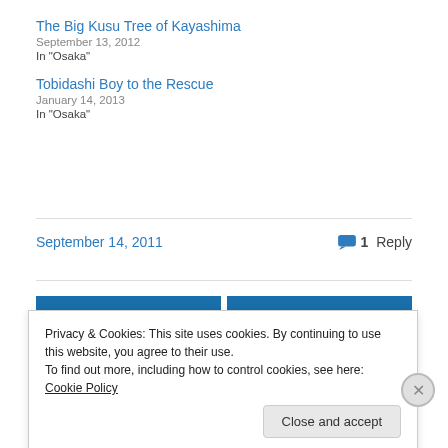The Big Kusu Tree of Kayashima
September 13, 2012
In "Osaka"
Tobidashi Boy to the Rescue
January 14, 2013
In "Osaka"
September 14, 2011
1 Reply
« Previous
Next »
Privacy & Cookies: This site uses cookies. By continuing to use this website, you agree to their use.
To find out more, including how to control cookies, see here: Cookie Policy
Close and accept